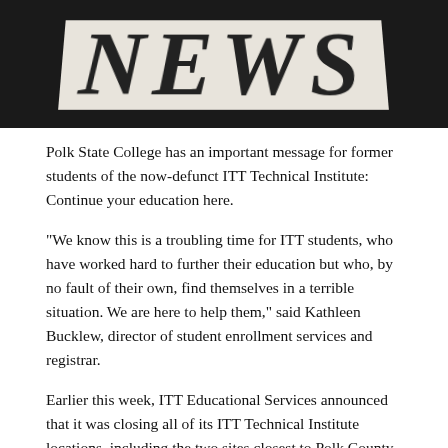[Figure (photo): Close-up photograph of a newspaper front page showing the word NEWS in large bold serif letters against a dark background]
Polk State College has an important message for former students of the now-defunct ITT Technical Institute: Continue your education here.
“We know this is a troubling time for ITT students, who have worked hard to further their education but who, by no fault of their own, find themselves in a terrible situation. We are here to help them,” said Kathleen Bucklew, director of student enrollment services and registrar.
Earlier this week, ITT Educational Services announced that it was closing all of its ITT Technical Institute locations, including the two sites closest to Polk County, in Tampa and Lake Mary.
In a statement published Tuesday on ittesi.com, ITT Educational Services said “actions and sanctions from the U.S. Department of Education have forced us to cease operations of the ITT Technical Institutes.” On its blog, the DOE explained that it had increased financial